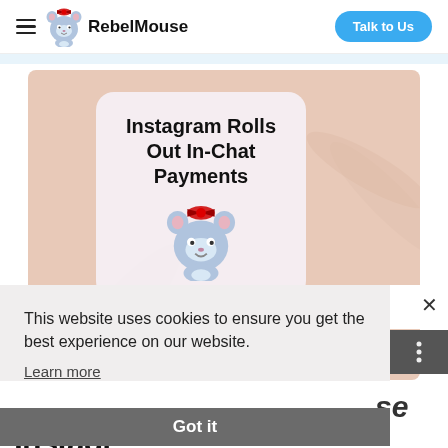RebelMouse — Talk to Us
[Figure (illustration): Hero image with peach/tan background, white rounded card showing 'Instagram Rolls Out In-Chat Payments', RebelMouse mascot (blue mouse with red bow), Instagram app icons bottom left, palm leaf pattern in background]
This website uses cookies to ensure you get the best experience on our website.
Learn more
Got it
Instagr